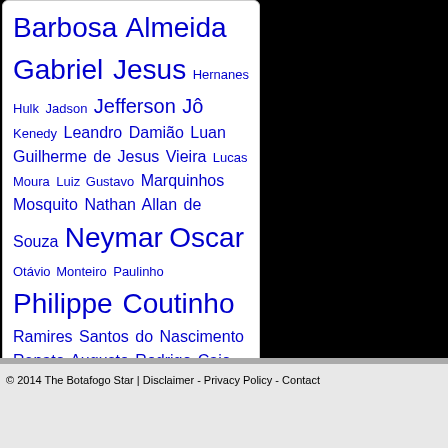Barbosa Almeida Gabriel Jesus Hernanes Hulk Jadson Jefferson Jô Kenedy Leandro Damião Luan Guilherme de Jesus Vieira Lucas Moura Luiz Gustavo Marquinhos Mosquito Nathan Allan de Souza Neymar Oscar Otávio Monteiro Paulinho Philippe Coutinho Ramires Santos do Nascimento Renato Augusto Rodrigo Caio Ronaldinho Gaúcho Thiago Silva Vitinho Willian Borges da Silva
© 2014 The Botafogo Star | Disclaimer - Privacy Policy - Contact